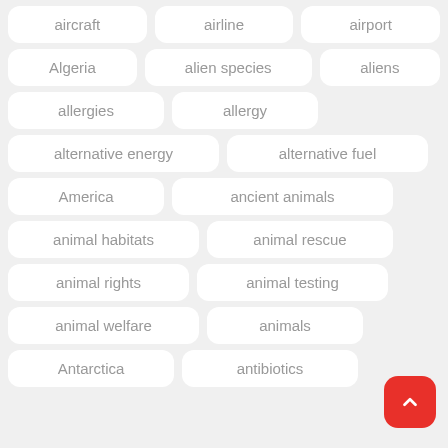aircraft
airline
airport
Algeria
alien species
aliens
allergies
allergy
alternative energy
alternative fuel
America
ancient animals
animal habitats
animal rescue
animal rights
animal testing
animal welfare
animals
Antarctica
antibiotics